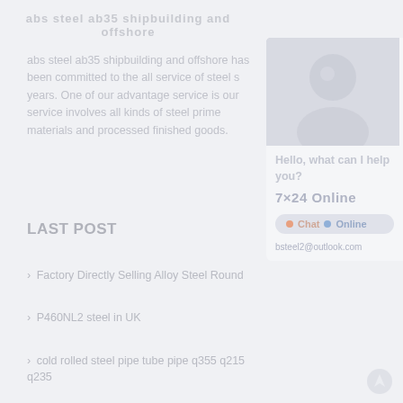abs steel ab35 shipbuilding and offshore
abs steel ab35 shipbuilding and offshore has been committed to the all service of steel s years. One of our advantage service is our service involves all kinds of steel prime materials and processed finished goods.
[Figure (photo): Chat widget with avatar photo, Hello what can I help you? text, 7×24 Online label, chat button, and bsteel2@outlook.com email]
LAST POST
Factory Directly Selling Alloy Steel Round
P460NL2 steel in UK
cold rolled steel pipe tube pipe q355 q215 q235